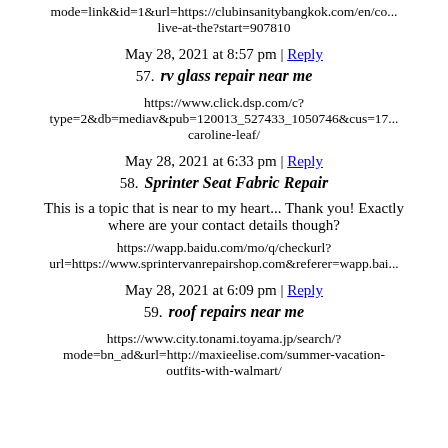mode=link&id=1&url=https://clubinsanitybangkok.com/en/co... live-at-the?start=907810
May 28, 2021 at 8:57 pm | Reply
57. rv glass repair near me
https://www.click.dsp.com/c? type=2&db=mediav&pub=120013_527433_1050746&cus=17... caroline-leaf/
May 28, 2021 at 6:33 pm | Reply
58. Sprinter Seat Fabric Repair
This is a topic that is near to my heart... Thank you! Exactly where are your contact details though?
https://wapp.baidu.com/mo/q/checkurl? url=https://www.sprintervanrepairshop.com&referer=wapp.bai...
May 28, 2021 at 6:09 pm | Reply
59. roof repairs near me
https://www.city.tonami.toyama.jp/search/ mode=bn_ad&url=http://maxieelise.com/summer-vacation-outfits-with-walmart/